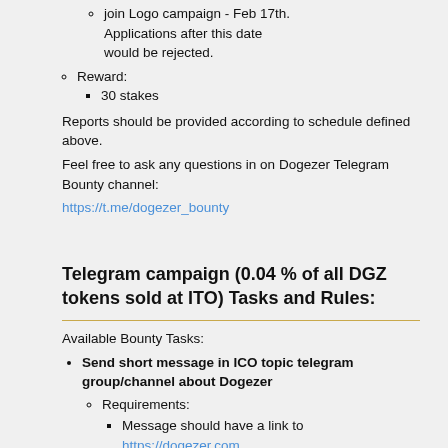join Logo campaign - Feb 17th. Applications after this date would be rejected.
Reward:
30 stakes
Reports should be provided according to schedule defined above.
Feel free to ask any questions in on Dogezer Telegram Bounty channel:
https://t.me/dogezer_bounty
Telegram campaign (0.04 % of all DGZ tokens sold at ITO) Tasks and Rules:
Available Bounty Tasks:
Send short message in ICO topic telegram group/channel about Dogezer
Requirements:
Message should have a link to https://dogezer.com
Min number of symbols for message: 20 w/o spaces